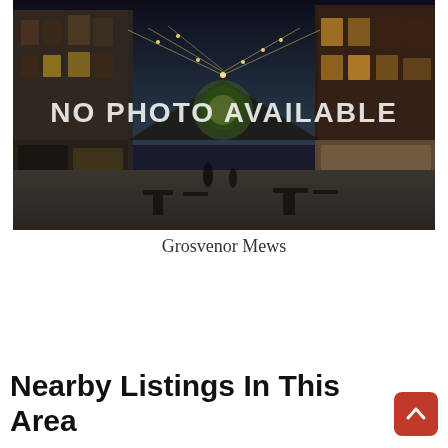[Figure (photo): A nighttime street scene showing a cobblestone pedestrian mews with string lights overhead, brick buildings on both sides, outdoor cafe furniture, and a 'NO PHOTO AVAILABLE' watermark overlay]
Grosvenor Mews
Nearby Listings In This Area